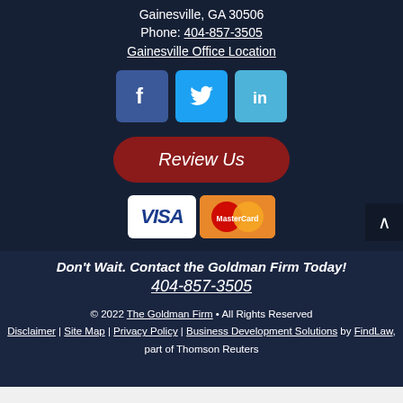Gainesville, GA 30506
Phone: 404-857-3505
Gainesville Office Location
[Figure (infographic): Social media icons: Facebook (blue), Twitter (light blue), LinkedIn (light blue)]
[Figure (infographic): Red rounded button with text 'Review Us']
[Figure (infographic): Payment method icons: VISA and MasterCard]
Don't Wait. Contact the Goldman Firm Today! 404-857-3505
© 2022 The Goldman Firm • All Rights Reserved Disclaimer | Site Map | Privacy Policy | Business Development Solutions by FindLaw, part of Thomson Reuters